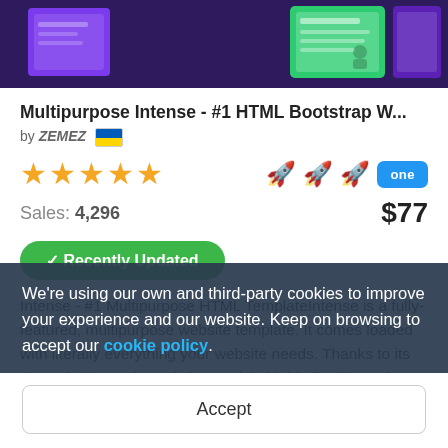[Figure (screenshot): Top banner showing website template preview screenshots with purple and green color scheme]
Multipurpose Intense - #1 HTML Bootstrap W...
by ZEMEZ 🇺🇦
[Figure (infographic): Five gold star rating with rocket icons and 'one' badge in blue]
Sales: 4,296   $77
✓ Recently Updated
Intense - #1 Multipurpose HTML TemplateIntense is a fully-featured, multipurpose website template. It comes loaded with literally everything your website needs. Thanks to its clean design and trendy layout, it is highly flexible and dynamic. Also, the templat...
We're using our own and third-party cookies to improve your experience and our website. Keep on browsing to accept our cookie policy.
Accept